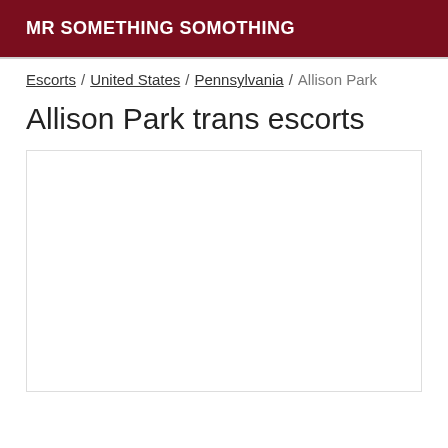MR SOMETHING SOMOTHING
Escorts / United States / Pennsylvania / Allison Park
Allison Park trans escorts
[Figure (other): Empty white content box with border]